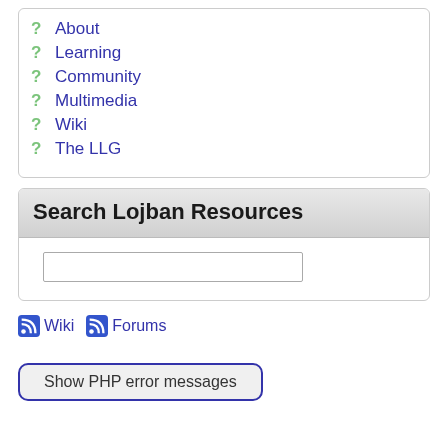? About
? Learning
? Community
? Multimedia
? Wiki
? The LLG
Search Lojban Resources
[search input field]
Wiki   Forums
Show PHP error messages